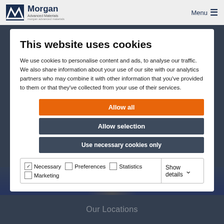Morgan Advanced Materials | Menu
This website uses cookies
We use cookies to personalise content and ads, to analyse our traffic. We also share information about your use of our site with our analytics partners who may combine it with other information that you've provided to them or that they've collected from your use of their services.
Allow all
Allow selection
Use necessary cookies only
Necessary  Preferences  Statistics  Marketing  Show details
Our Locations